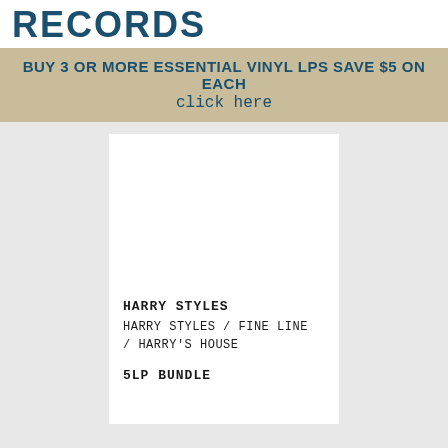RECORDS
BUY 3 OR MORE ESSENTIAL VINYL LPS SAVE $5 ON EACH
click here
HARRY STYLES
HARRY STYLES / FINE LINE / HARRY'S HOUSE
5LP BUNDLE
↑ Back To Top